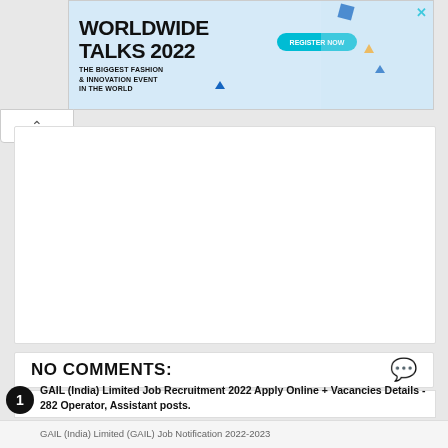[Figure (illustration): Advertisement banner for Worldwide Talks 2022 - The Biggest Fashion & Innovation Event in the World, with Register Now button and decorative geometric shapes]
NO COMMENTS:
GAIL (India) Limited Job Recruitment 2022 Apply Online + Vacancies Details - 282 Operator, Assistant posts.
GAIL (India) Limited (GAIL) Job Notification 2022-2023